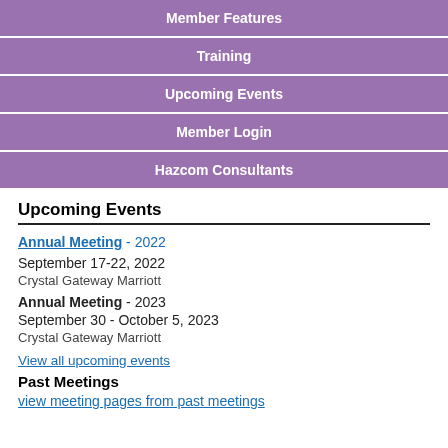Member Features
Training
Upcoming Events
Member Login
Hazcom Consultants
Upcoming Events
Annual Meeting - 2022
September 17-22, 2022
Crystal Gateway Marriott
Annual Meeting - 2023
September 30 - October 5, 2023
Crystal Gateway Marriott
View all upcoming events
Past Meetings
view meeting pages from past meetings